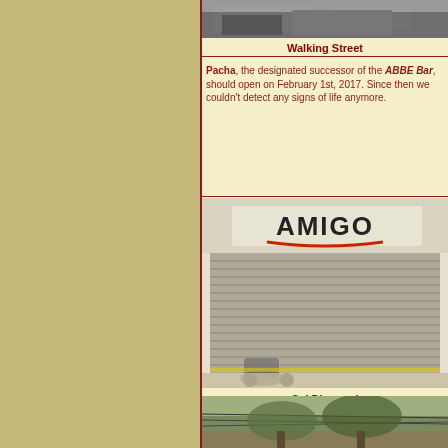[Figure (photo): Top photo strip showing street/building scene]
Walking Street
Pacha, the designated successor of the ABBE Bar, should open on February 1st, 2017. Since then we couldn't detect any signs of life anymore.
[Figure (photo): Amigo club storefront with metal shutters closed, motorcycle parked outside]
Soi Diamond
Amigo, overtake the ByBlos Club A Go-Go during 2015 and announced a new shopping feeling for 2016. Since then we couldn't detect any signs of life anymore.
[Figure (photo): Street scene with power lines and trees]